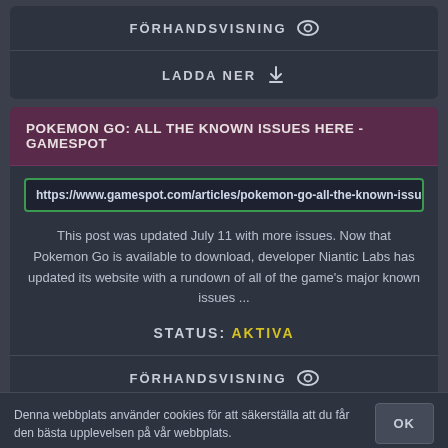FÖRHANDSVISNING
LADDA NER
POKEMON GO: ALL THE KNOWN ISSUES HERE - GAMESPOT
https://www.gamespot.com/articles/pokemon-go-all-the-known-issues-he
This post was updated July 11 with more issues. Now that Pokemon Go is available to download, developer Niantic Labs has updated its website with a rundown of all of the game's major known issues ...
STATUS: AKTIVA
FÖRHANDSVISNING
LADDA NER
Denna webbplats använder cookies för att säkerställa att du får den bästa upplevelsen på vår webbplats.